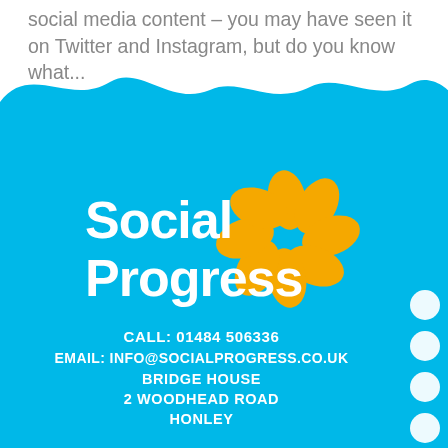social media content – you may have seen it on Twitter and Instagram, but do you know what...
[Figure (logo): Social Progress logo on cyan/blue background with orange flower petals and white text reading 'Social Progress']
CALL: 01484 506336
EMAIL: INFO@SOCIALPROGRESS.CO.UK
BRIDGE HOUSE
2 WOODHEAD ROAD
HONLEY